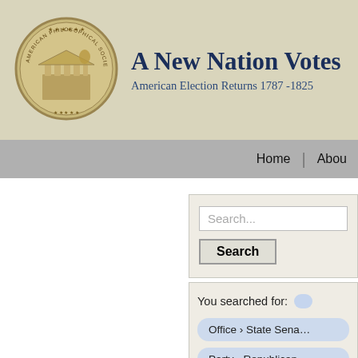A New Nation Votes
American Election Returns 1787-1825
[Figure (logo): Circular seal/medallion with classical building and figures engraved in bronze/sepia tone]
Home | About
Search...
Search
You searched for:
Office › State Sena...
Party › Republican
Party › Federalist